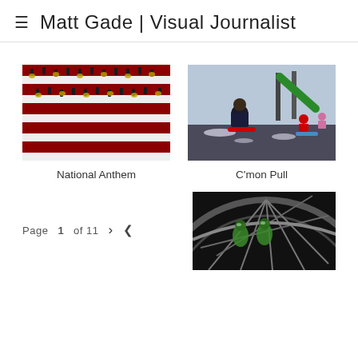Matt Gade | Visual Journalist
[Figure (photo): Aerial view of a marching band forming a flag pattern with red and white color blocks, performers in uniform with instruments]
National Anthem
[Figure (photo): Child pulling a sled on a snow-dusted playground with playground equipment in background, another child sitting on a sled]
C'mon Pull
Page 1 of 11
[Figure (photo): Close-up of a bicycle wheel with cyclists reflected in the metallic rim, green jerseys visible]